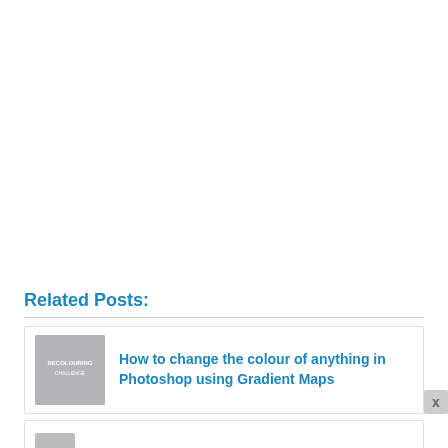Related Posts:
How to change the colour of anything in Photoshop using Gradient Maps